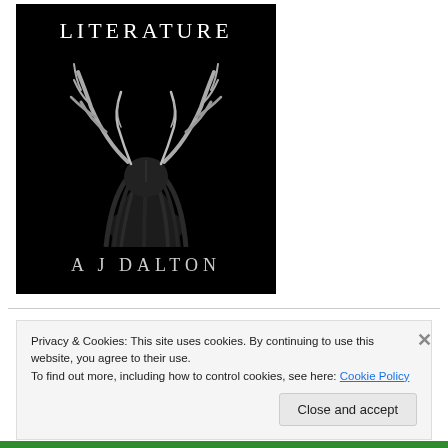[Figure (illustration): Book cover with black background. Title 'LITERATURE' at top in white serif letters with wide spacing. Center features a stylized dark figure with large antlers spread wide and long flowing hair. Author name 'A J DALTON' at bottom in light grey serif letters.]
Privacy & Cookies: This site uses cookies. By continuing to use this website, you agree to their use.
To find out more, including how to control cookies, see here: Cookie Policy
Close and accept